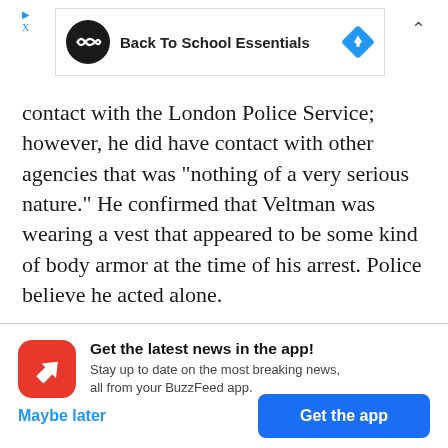[Figure (screenshot): Ad banner with black infinity icon circle, text 'Back To School Essentials', blue diamond navigation icon, and up chevron]
contact with the London Police Service; however, he did have contact with other agencies that was "nothing of a very serious nature." He confirmed that Veltman was wearing a vest that appeared to be some kind of body armor at the time of his arrest. Police believe he acted alone.

The Muslim community has deep roots in the area,
[Figure (screenshot): BuzzFeed app promo notification with red circle icon containing white arrow, title 'Get the latest news in the app!', subtitle 'Stay up to date on the most breaking news, all from your BuzzFeed app.', 'Maybe later' link and blue 'Get the app' button]